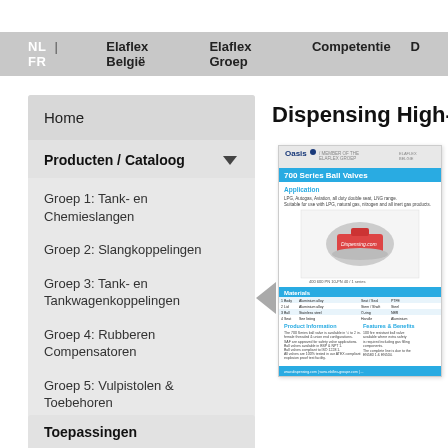NL | FR   Elaflex België   Elaflex Groep   Competentie D
Home
Producten / Cataloog
Groep 1: Tank- en Chemieslangen
Groep 2: Slangkoppelingen
Groep 3: Tank- en Tankwagenkoppelingen
Groep 4: Rubberen Compensatoren
Groep 5: Vulpistolen & Toebehoren
Slanghaspels
High-Pressure Gas
Dispensing High-P
[Figure (screenshot): Product datasheet for Oasis 700 Series Ball Valves, showing product image, materials table, and product information sections.]
Toepassingen